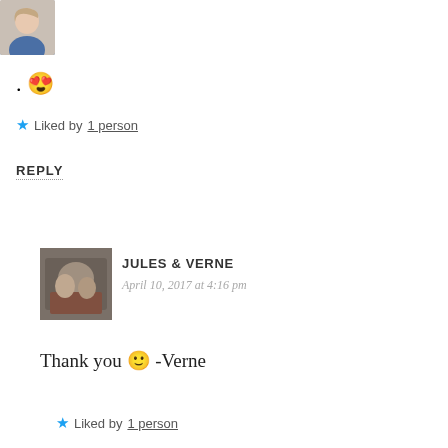[Figure (photo): Small avatar photo of a young woman with blonde hair, partial crop at top of page]
. 😍
★ Liked by 1 person
REPLY
[Figure (photo): Avatar photo of people in a car, for commenter Jules & Verne]
JULES & VERNE
April 10, 2017 at 4:16 pm
Thank you 🙂 -Verne
★ Liked by 1 person